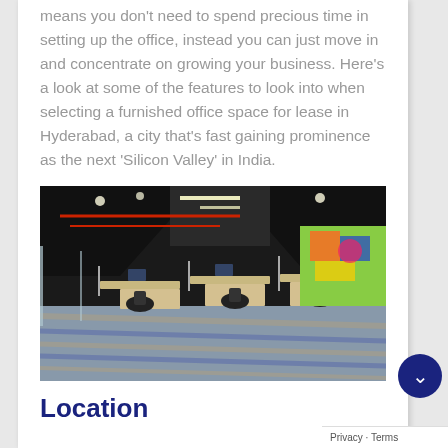means you don't need to spend precious time in setting up the office, instead you can just move in and concentrate on growing your business. Here's a look at some of the features to look into when selecting a furnished office space for lease in Hyderabad, a city that's fast gaining prominence as the next 'Silicon Valley' in India.
[Figure (photo): Interior photo of a modern open-plan office space with workstation cubicles, blue and beige herringbone carpet tiles, colorful mural wall, dark ceiling with exposed red ductwork and linear LED lighting, and glass partition walls.]
Location